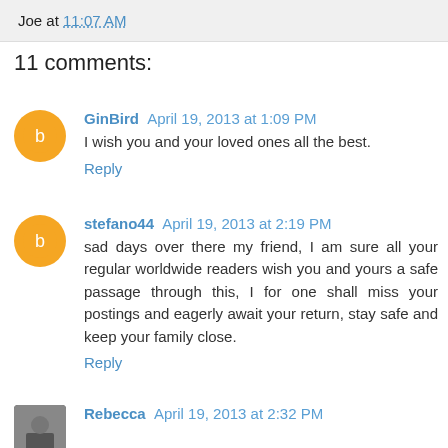Joe at 11:07 AM
11 comments:
GinBird April 19, 2013 at 1:09 PM
I wish you and your loved ones all the best.
Reply
stefano44 April 19, 2013 at 2:19 PM
sad days over there my friend, I am sure all your regular worldwide readers wish you and yours a safe passage through this, I for one shall miss your postings and eagerly await your return, stay safe and keep your family close.
Reply
Rebecca April 19, 2013 at 2:32 PM